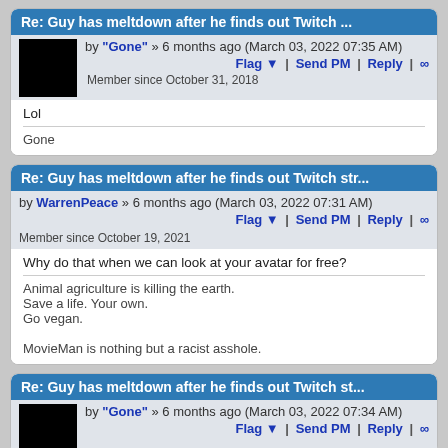Re: Guy has meltdown after he finds out Twitch ...
by "Gone" » 6 months ago (March 03, 2022 07:35 AM)
Flag ▼ | Send PM | Reply | ∞
Member since October 31, 2018
Lol
Gone
Re: Guy has meltdown after he finds out Twitch str...
by WarrenPeace » 6 months ago (March 03, 2022 07:31 AM)
Flag ▼ | Send PM | Reply | ∞
Member since October 19, 2021
Why do that when we can look at your avatar for free?
Animal agriculture is killing the earth.
Save a life. Your own.
Go vegan.

MovieMan is nothing but a racist asshole.
Re: Guy has meltdown after he finds out Twitch st...
by "Gone" » 6 months ago (March 03, 2022 07:34 AM)
Flag ▼ | Send PM | Reply | ∞